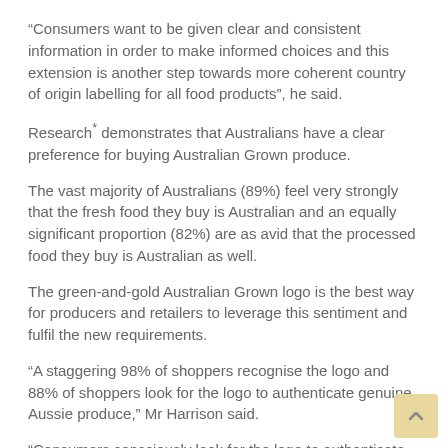“Consumers want to be given clear and consistent information in order to make informed choices and this extension is another step towards more coherent country of origin labelling for all food products”, he said.
Research* demonstrates that Australians have a clear preference for buying Australian Grown produce.
The vast majority of Australians (89%) feel very strongly that the fresh food they buy is Australian and an equally significant proportion (82%) are as avid that the processed food they buy is Australian as well.
The green-and-gold Australian Grown logo is the best way for producers and retailers to leverage this sentiment and fulfil the new requirements.
“A staggering 98% of shoppers recognise the logo and 88% of shoppers look for the logo to authenticate genuine Aussie produce,” Mr Harrison said.
“Consumers consciously look for the logo to authenticate produce as Australian.